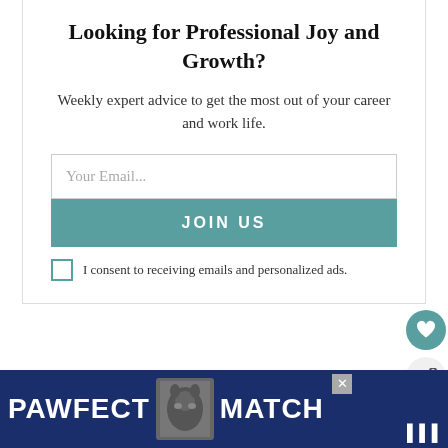Looking for Professional Joy and Growth?
Weekly expert advice to get the most out of your career and work life.
[Figure (infographic): Email signup form with 'Your Email...' input field, 'JOIN US' teal button, and 'I consent to receiving emails and personalized ads.' checkbox]
[Figure (infographic): Social sidebar with heart icon (teal circle) and share icon (light circle)]
WHAT'S NEXT → 10 Best Gold Desk...
Water Bottle
D... a water
[Figure (infographic): Ad banner: PAWFECT MATCH with cat image, blue background]